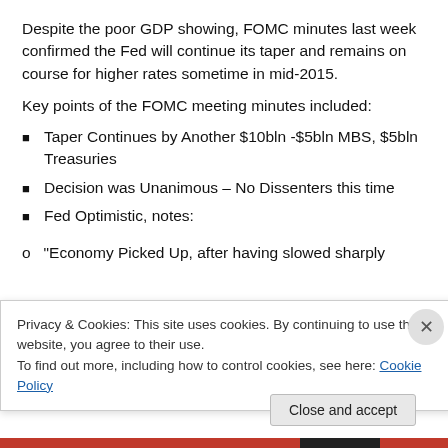Despite the poor GDP showing, FOMC minutes last week confirmed the Fed will continue its taper and remains on course for higher rates sometime in mid-2015.
Key points of the FOMC meeting minutes included:
Taper Continues by Another $10bln -$5bln MBS, $5bln Treasuries
Decision was Unanimous – No Dissenters this time
Fed Optimistic, notes:
“Economy Picked Up, after having slowed sharply
Privacy & Cookies: This site uses cookies. By continuing to use this website, you agree to their use.
To find out more, including how to control cookies, see here: Cookie Policy
Close and accept